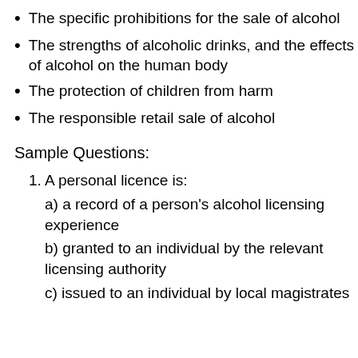The specific prohibitions for the sale of alcohol
The strengths of alcoholic drinks, and the effects of alcohol on the human body
The protection of children from harm
The responsible retail sale of alcohol
Sample Questions:
1. A personal licence is:
a) a record of a person's alcohol licensing experience
b) granted to an individual by the relevant licensing authority
c) issued to an individual by local magistrates